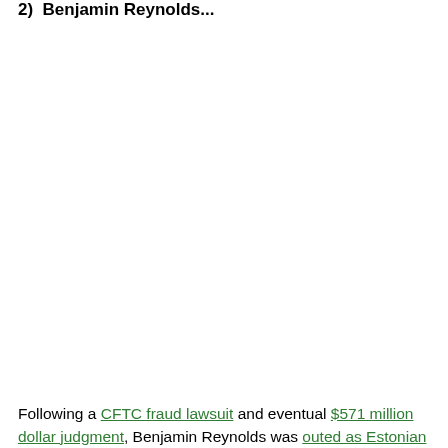2) Benjamin Reynolds...
Following a CFTC fraud lawsuit and eventual $571 million dollar judgment, Benjamin Reynolds was outed as Estonian